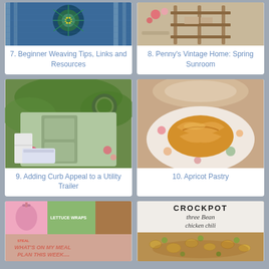[Figure (photo): Weaving with blue peacock feather tapestry on a loom]
7. Beginner Weaving Tips, Links and Resources
[Figure (photo): Vintage spring sunroom with flowers and wooden furniture]
8. Penny's Vintage Home: Spring Sunroom
[Figure (photo): Outdoor garden setting with vintage furniture and flowers on a utility trailer]
9. Adding Curb Appeal to a Utility Trailer
[Figure (photo): Apricot pastry on floral plate]
10. Apricot Pastry
[Figure (photo): Meal plan collage with smoothie, lettuce wraps and other foods, text: What's on my meal plan this week]
[Figure (photo): Crockpot Three Bean Chicken Chili with pasta and beans]